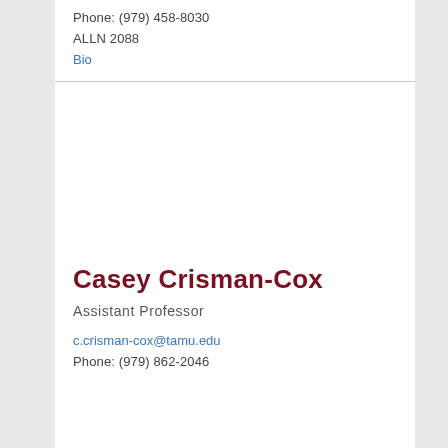Phone: (979) 458-8030
ALLN 2088
Bio
Casey Crisman-Cox
Assistant Professor
c.crisman-cox@tamu.edu
Phone: (979) 862-2046